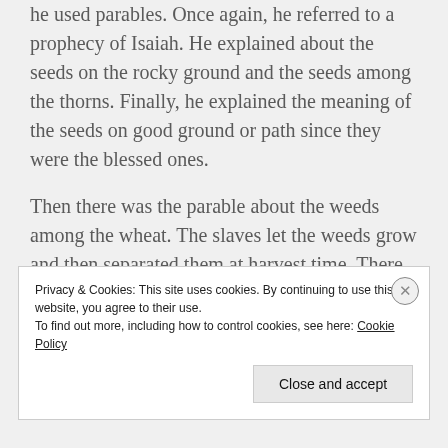he used parables. Once again, he referred to a prophecy of Isaiah.  He explained about the seeds on the rocky ground and the seeds among the thorns.  Finally, he explained the meaning of the seeds on good ground or path since they were the blessed ones.
Then there was the parable about the weeds among the wheat.  The slaves let the weeds grow and then separated them at harvest time.  There
Privacy & Cookies: This site uses cookies. By continuing to use this website, you agree to their use.
To find out more, including how to control cookies, see here: Cookie Policy
Close and accept